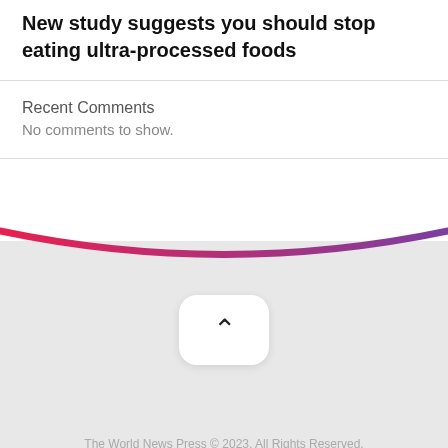New study suggests you should stop eating ultra-processed foods
Recent Comments
No comments to show.
[Figure (illustration): Gradient arc/stripe from red to purple decorating the bottom of a white card panel above a gray footer section]
[Figure (illustration): Scroll-to-top button: white rounded rectangle with a chevron/up-arrow icon]
The World News Press © 2023. All Rights Reserved.